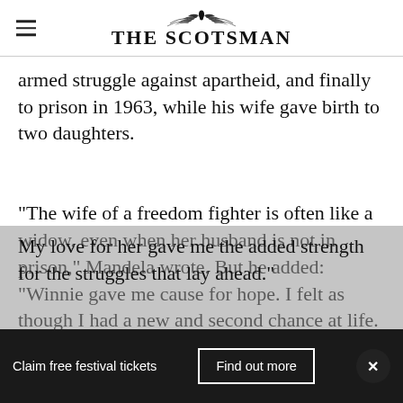THE SCOTSMAN
armed struggle against apartheid, and finally to prison in 1963, while his wife gave birth to two daughters.

“The wife of a freedom fighter is often like a widow, even when her husband is not in prison,” Mandela wrote. But he added: “Winnie gave me cause for hope. I felt as though I had a new and second chance at life. My love for her gave me the added strength for the struggles that lay ahead.”
Claim free festival tickets   Find out more